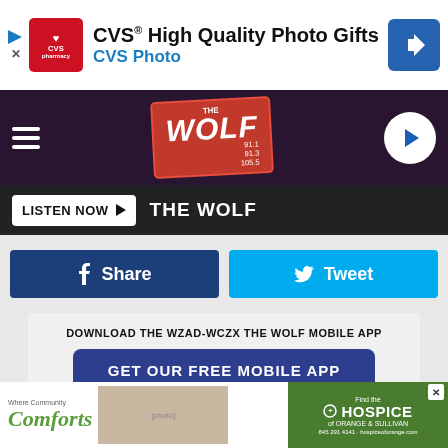[Figure (screenshot): CVS Pharmacy ad banner with logo, text 'CVS® High Quality Photo Gifts' and 'CVS Photo', and blue direction arrow icon]
[Figure (logo): The Wolf radio station logo on dark purple/maroon nav bar with hamburger menu and play button]
LISTEN NOW ▶  THE WOLF
[Figure (screenshot): Facebook Share button (dark blue) and Twitter Tweet button (light blue) side by side]
DOWNLOAD THE WZAD-WCZX THE WOLF MOBILE APP
GET OUR FREE MOBILE APP
Also listen on:  amazon alexa
[Figure (screenshot): Bottom advertisement: Hospice of Orange & Sullivan (green section) and Community Comforts section with photo of people]